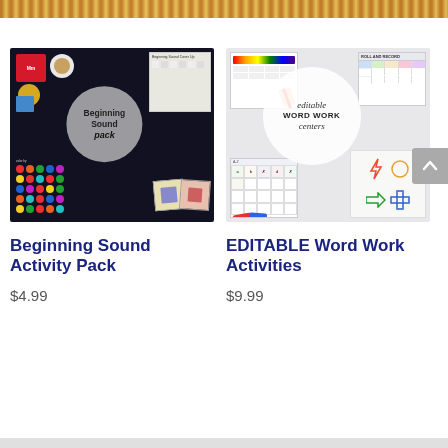[Figure (screenshot): Top banner strip showing colorful educational images]
[Figure (photo): Beginning Sound Activity Pack product thumbnail — dark background with educational activity cards and circle overlay reading 'Beginning Sound pack']
Beginning Sound Activity Pack
$4.99
[Figure (photo): EDITABLE Word Work Activities product thumbnail — light background with worksheets and circle overlay reading 'editable WORD WORK centers']
EDITABLE Word Work Activities
$9.99